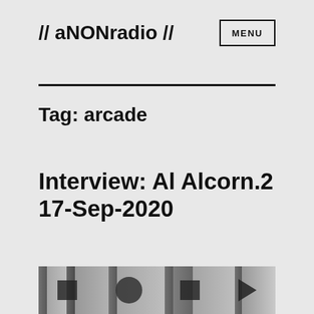// aNONradio //
Tag: arcade
Interview: Al Alcorn.2 17-Sep-2020
[Figure (photo): Thumbnail image showing a black and white photograph strip, partially visible at the bottom of the page, depicting people or objects in a radio/interview setting.]